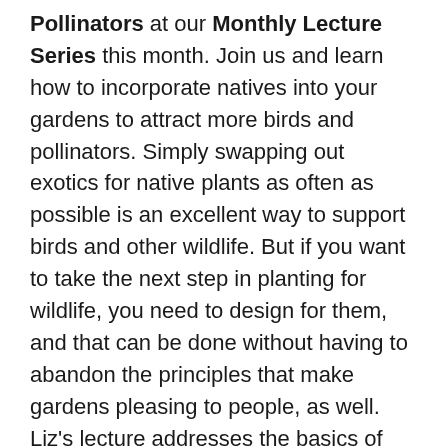Pollinators at our Monthly Lecture Series this month. Join us and learn how to incorporate natives into your gardens to attract more birds and pollinators. Simply swapping out exotics for native plants as often as possible is an excellent way to support birds and other wildlife. But if you want to take the next step in planting for wildlife, you need to design for them, and that can be done without having to abandon the principles that make gardens pleasing to people, as well. Liz's lecture addresses the basics of designing and maintaining a beautiful garden that is alive with birdsong, buzzing, and butterflies. Wednesday, April 10, 7pm. Please join us for refreshments at 7:00 pm, lecture begins at 7:30pm. Katonah Village Library. Cost: Free. This is a free event